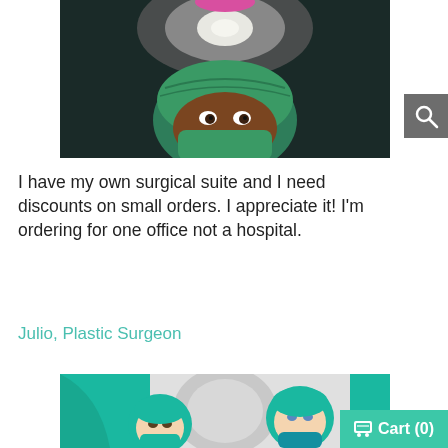[Figure (illustration): Cartoon illustration of a surgeon in green scrubs and surgical mask viewed from above under an operating room light on a dark background]
I have my own surgical suite and I need discounts on small orders. I appreciate it! I'm ordering for one office not a hospital.
Julio, Plastic Surgeon
[Figure (illustration): Cartoon illustration of two surgeons in teal scrubs viewed from above around a circular operating room light]